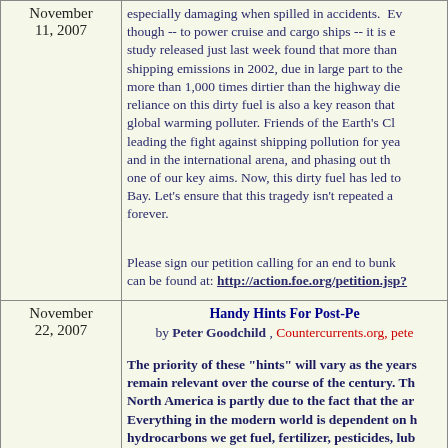especially damaging when spilled in accidents. Even though -- to power cruise and cargo ships -- it is e... study released just last week found that more than shipping emissions in 2002, due in large part to the more than 1,000 times dirtier than the highway die... reliance on this dirty fuel is also a key reason that global warming polluter. Friends of the Earth's Cl... leading the fight against shipping pollution for yea... and in the international arena, and phasing out th... one of our key aims. Now, this dirty fuel has led to Bay. Let's ensure that this tragedy isn't repeated a... forever.
Please sign our petition calling for an end to bunk... can be found at: http://action.foe.org/petition.jsp?
Handy Hints For Post-Pe
by Peter Goodchild , Countercurrents.org, pete...
The priority of these "hints" will vary as the years remain relevant over the course of the century. Th... North America is partly due to the fact that the ar... Everything in the modern world is dependent on h... hydrocarbons we get fuel, fertilizer, pesticides, lub... fabrics, asphalt, pharmaceuticals, and many other entire industrial society will go with it. We must th... technology. On a broader scale, one could can say